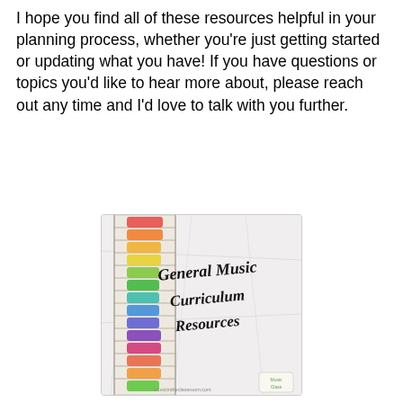I hope you find all of these resources helpful in your planning process, whether you're just getting started or updating what you have! If you have questions or topics you'd like to hear more about, please reach out any time and I'd love to talk with you further.
[Figure (illustration): Cover image of a 'General Music Curriculum Resources' booklet showing a colorful piano keyboard with rainbow-colored keys on a crumpled white paper background, with cursive/brush lettering text.]